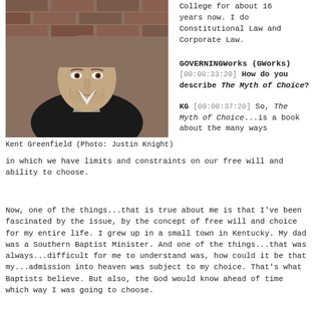[Figure (photo): Portrait photo of Kent Greenfield, a man in a dark jacket and grey v-neck sweater, smiling, with a brick wall background.]
Kent Greenfield (Photo: Justin Knight)
College for about 16 years now. I do Constitutional Law and Corporate Law.
GOVERNINGWorks (GWorks) [00:00:33:20] How do you describe The Myth of Choice?
KG [00:00:37:20] So, The Myth of Choice...is a book about the many ways in which we have limits and constraints on our free will and ability to choose.
Now, one of the things...that is true about me is that I've been fascinated by the issue, by the concept of free will and choice for my entire life. I grew up in a small town in Kentucky. My dad was a Southern Baptist Minister. And one of the things...that was always...difficult for me to understand was, how could it be that my...admission into heaven was subject to my choice. That's what Baptists believe. But also, the God would know ahead of time which way I was going to choose.